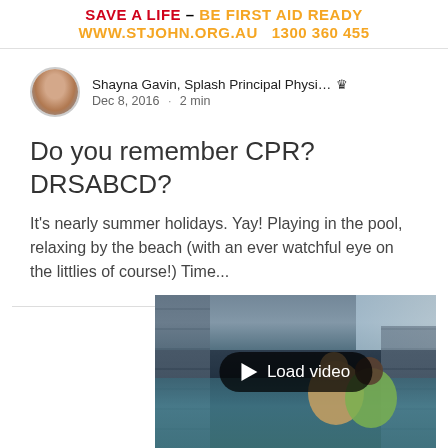[Figure (logo): St John First Aid banner: 'SAVE A LIFE – BE FIRST AID READY' in red and orange, 'WWW.STJOHN.ORG.AU  1300 360 455' in orange]
Shayna Gavin, Splash Principal Physi… 👑
Dec 8, 2016 · 2 min
Do you remember CPR? DRSABCD?
It's nearly summer holidays. Yay! Playing in the pool, relaxing by the beach (with an ever watchful eye on the littlies of course!) Time...
[Figure (screenshot): Video thumbnail showing children in a swimming pool with a 'Load video' button overlay]